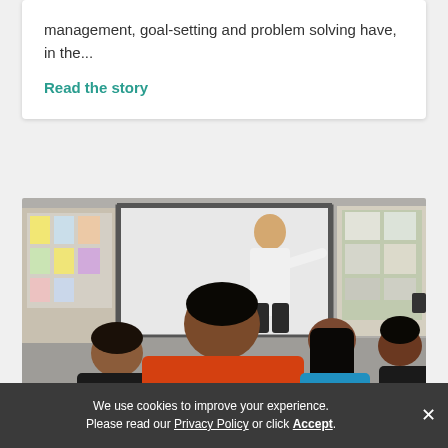management, goal-setting and problem solving have, in the...
Read the story
[Figure (photo): Classroom scene viewed from behind. A person in an orange 'City Year' jacket sits in the foreground among other students, facing a teacher writing on a whiteboard at the front of the room.]
We use cookies to improve your experience. Please read our Privacy Policy or click Accept.